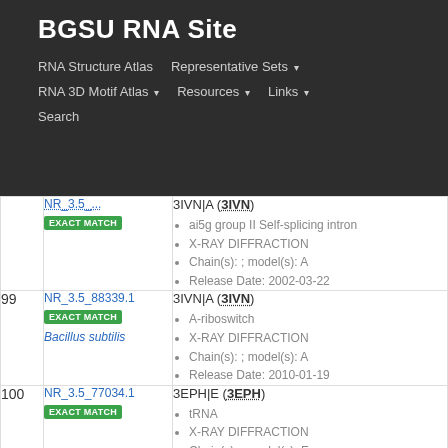BGSU RNA Site
RNA Structure Atlas | Representative Sets | RNA 3D Motif Atlas | Resources | Links | Search
| # | ID | Details |
| --- | --- | --- |
| (partial) | NR_3.5_... EXACT MATCH | 3IVN|A (3IVN) • ai5g group II Self-splicing intron • X-RAY DIFFRACTION • Chain(s): ; model(s): A • Release Date: 2002-03-22 |
| 99 | NR_3.5_88339.1 EXACT MATCH Bacillus subtilis | 3IVN|A (3IVN) • A-riboswitch • X-RAY DIFFRACTION • Chain(s): ; model(s): A • Release Date: 2010-01-19 |
| 100 | NR_3.5_77034.1 EXACT MATCH | 3EPH|E (3EPH) • tRNA • X-RAY DIFFRACTION • Chain(s): ; model(s): E |